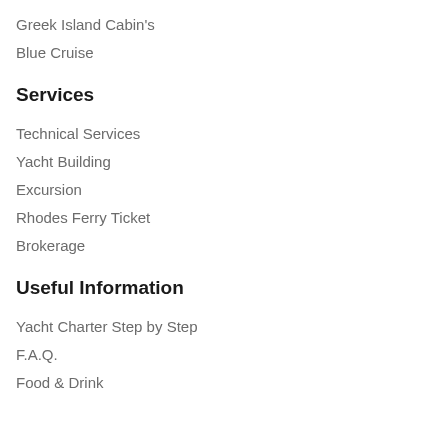Greek Island Cabin's
Blue Cruise
Services
Technical Services
Yacht Building
Excursion
Rhodes Ferry Ticket
Brokerage
Useful Information
Yacht Charter Step by Step
F.A.Q.
Food & Drink